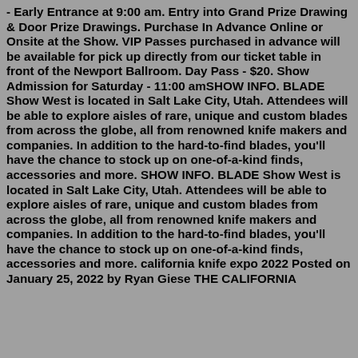- Early Entrance at 9:00 am. Entry into Grand Prize Drawing & Door Prize Drawings. Purchase In Advance Online or Onsite at the Show. VIP Passes purchased in advance will be available for pick up directly from our ticket table in front of the Newport Ballroom. Day Pass - $20. Show Admission for Saturday - 11:00 amSHOW INFO. BLADE Show West is located in Salt Lake City, Utah. Attendees will be able to explore aisles of rare, unique and custom blades from across the globe, all from renowned knife makers and companies. In addition to the hard-to-find blades, you'll have the chance to stock up on one-of-a-kind finds, accessories and more. SHOW INFO. BLADE Show West is located in Salt Lake City, Utah. Attendees will be able to explore aisles of rare, unique and custom blades from across the globe, all from renowned knife makers and companies. In addition to the hard-to-find blades, you'll have the chance to stock up on one-of-a-kind finds, accessories and more. california knife expo 2022 Posted on January 25, 2022 by Ryan Giese THE CALIFORNIA